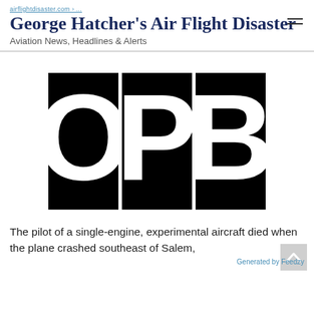George Hatcher's Air Flight Disaster
Aviation News, Headlines & Alerts
[Figure (logo): OPB logo — three black squares each containing a large white letter: O, P, B]
The pilot of a single-engine, experimental aircraft died when the plane crashed southeast of Salem,